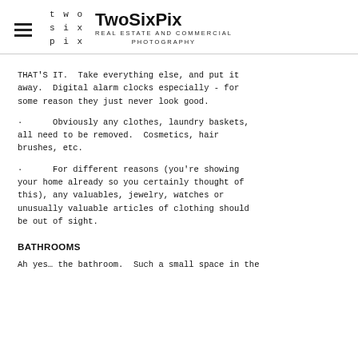two six pix | TwoSixPix REAL ESTATE AND COMMERCIAL PHOTOGRAPHY
THAT'S IT.  Take everything else, and put it away.  Digital alarm clocks especially - for some reason they just never look good.
·       Obviously any clothes, laundry baskets, all need to be removed.  Cosmetics, hair brushes, etc.
·       For different reasons (you're showing your home already so you certainly thought of this), any valuables, jewelry, watches or unusually valuable articles of clothing should be out of sight.
BATHROOMS
Ah yes… the bathroom.  Such a small space in the